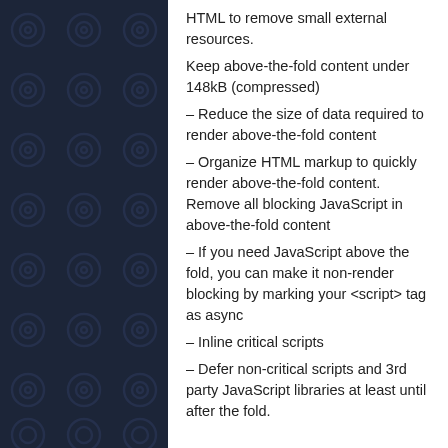HTML to remove small external resources.
Keep above-the-fold content under 148kB (compressed)
– Reduce the size of data required to render above-the-fold content
– Organize HTML markup to quickly render above-the-fold content. Remove all blocking JavaScript in above-the-fold content
– If you need JavaScript above the fold, you can make it non-render blocking by marking your <script> tag as async
– Inline critical scripts
– Defer non-critical scripts and 3rd party JavaScript libraries at least until after the fold.